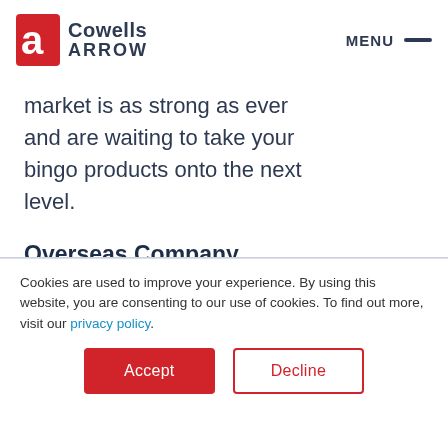Cowells ARROW  MENU
Arrow International / Cowells commitment to the UK bingo market is as strong as ever and are waiting to take your bingo products onto the next level.
Overseas Company Information:
Head Office: 9900 Clinton Road, Cleveland, Ohio 44144,
Cookies are used to improve your experience. By using this website, you are consenting to our use of cookies. To find out more, visit our privacy policy.